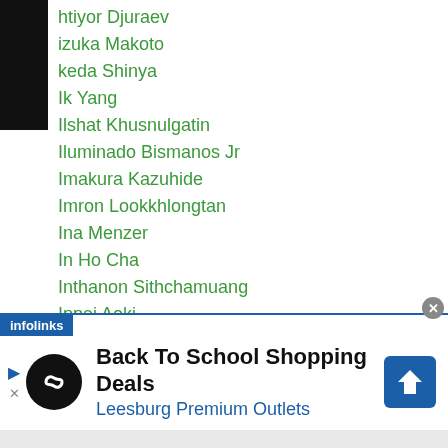htiyor Djuraev
izuka Makoto
keda Shinya
Ik Yang
Ilshat Khusnulgatin
Iluminado Bismanos Jr
Imakura Kazuhide
Imron Lookkhlongtan
Ina Menzer
In Ho Cha
Inthanon Sithchamuang
Ippei Aoki
Ippei Azuma
Isa Akberbayev
Isami Kimoto
Ishii Ryu Makoto
[Figure (screenshot): Advertisement banner for Leesburg Premium Outlets — Back To School Shopping Deals, with infolinks branding, a circular logo with infinity symbol, and a blue diamond arrow icon.]